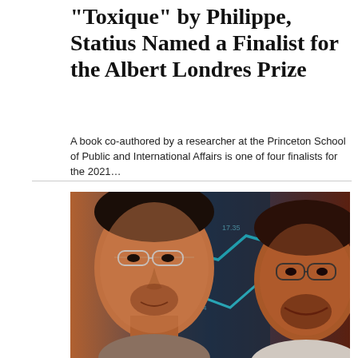“Toxique” by Philippe, Statius Named a Finalist for the Albert Londres Prize
A book co-authored by a researcher at the Princeton School of Public and International Affairs is one of four finalists for the 2021…
[Figure (photo): Two men with glasses shown in a composite photo against a background showing financial chart graphics with blue upward arrows and stock ticker numbers.]